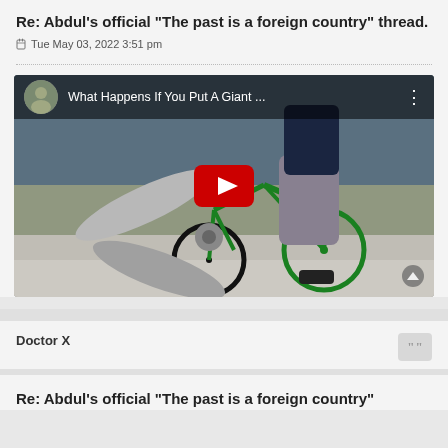Re: Abdul's official "The past is a foreign country" thread.
Tue May 03, 2022 3:51 pm
[Figure (screenshot): YouTube video thumbnail showing a person riding a green bicycle with a large metal propeller attached to the front wheel. The video title bar shows 'What Happens If You Put A Giant ...' with a channel avatar on the left and a three-dot menu on the right. A red YouTube play button is centered on the image.]
Doctor X
Re: Abdul's official "The past is a foreign country"